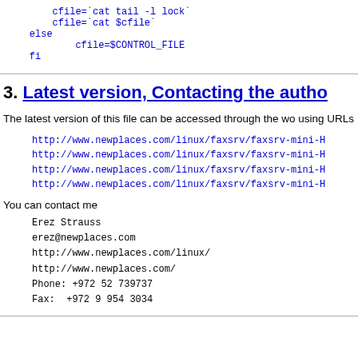cfile=`cat tail -l lock`
        cfile=`cat $cfile`
    else
            cfile=$CONTROL_FILE
    fi
3. Latest version, Contacting the autho
The latest version of this file can be accessed through the wo using URLs
http://www.newplaces.com/linux/faxsrv/faxsrv-mini-H
http://www.newplaces.com/linux/faxsrv/faxsrv-mini-H
http://www.newplaces.com/linux/faxsrv/faxsrv-mini-H
http://www.newplaces.com/linux/faxsrv/faxsrv-mini-H
You can contact me
Erez Strauss
erez@newplaces.com
http://www.newplaces.com/linux/
http://www.newplaces.com/
Phone: +972 52 739737
Fax:  +972 9 954 3034